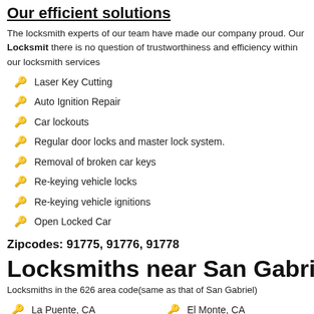Our efficient solutions
The locksmith experts of our team have made our company proud. Our Locksmith there is no question of trustworthiness and efficiency within our locksmith services
Laser Key Cutting
Auto Ignition Repair
Car lockouts
Regular door locks and master lock system.
Removal of broken car keys
Re-keying vehicle locks
Re-keying vehicle ignitions
Open Locked Car
Zipcodes: 91775, 91776, 91778
Locksmiths near San Gabriel C
Locksmiths in the 626 area code(same as that of San Gabriel)
La Puente, CA
El Monte, CA
Alhambra, CA
Altadena, CA
Covina, CA
Duarte, CA